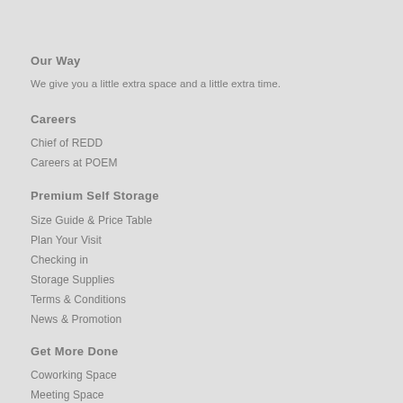Our Way
We give you a little extra space and a little extra time.
Careers
Chief of REDD
Careers at POEM
Premium Self Storage
Size Guide & Price Table
Plan Your Visit
Checking in
Storage Supplies
Terms & Conditions
News & Promotion
Get More Done
Coworking Space
Meeting Space
Delivery, Relocation & Parcel Services